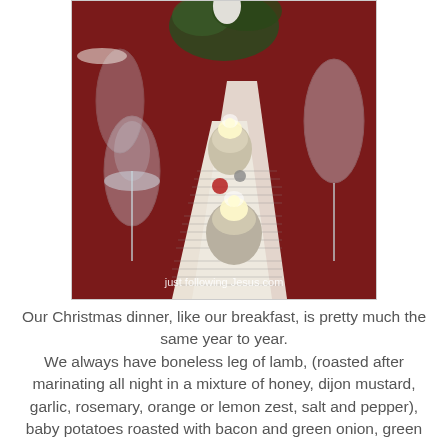[Figure (photo): A Christmas dinner table set with a deep red tablecloth, sheet music used as a table runner, candles in mercury glass votives, crystal wine glasses, and floral centerpiece. Watermark reads 'just following Jesus.com'.]
Our Christmas dinner, like our breakfast, is pretty much the same year to year. We always have boneless leg of lamb, (roasted after marinating all night in a mixture of honey, dijon mustard, garlic, rosemary, orange or lemon zest, salt and pepper), baby potatoes roasted with bacon and green onion, green